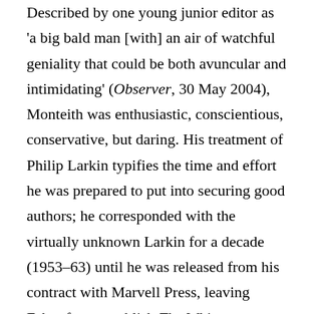Described by one young junior editor as 'a big bald man [with] an air of watchful geniality that could be both avuncular and intimidating' (Observer, 30 May 2004), Monteith was enthusiastic, conscientious, conservative, but daring. His treatment of Philip Larkin typifies the time and effort he was prepared to put into securing good authors; he corresponded with the virtually unknown Larkin for a decade (1953–63) until he was released from his contract with Marvell Press, leaving Faber free to publish The Whitsun weddings (1963), which sold 4,000 copies on its first run. Monteith took over as